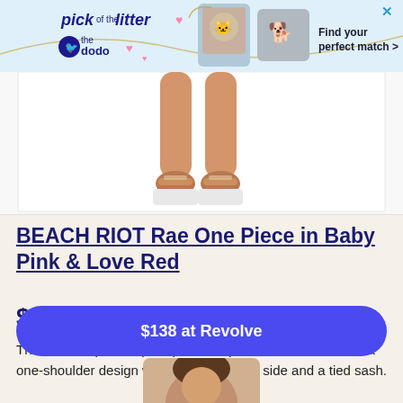[Figure (screenshot): Advertisement banner for 'pick of the litter' by The Dodo, with pet photos and 'Find your perfect match >' text]
[Figure (photo): Product photo showing lower body/legs of a model wearing the swimsuit and sandals]
BEACH RIOT Rae One Piece in Baby Pink & Love Red
$138
This red and pink leopard print one piece suit is so fun. It's a one-shoulder design with a cutout on the side and a tied sash.
$138 at Revolve
[Figure (photo): Partial thumbnail of a person at the bottom of the page]